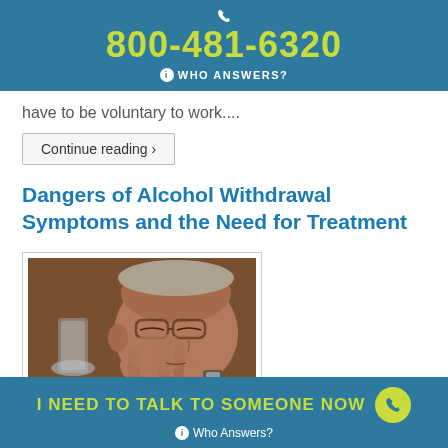800-481-6320
WHO ANSWERS?
have to be voluntary to work....
Continue reading ›
Dangers of Alcohol Withdrawal Symptoms and the Need for Treatment
[Figure (photo): Elderly man resting his face on his hand next to a glass, looking distressed]
I NEED TO TALK TO SOMEONE NOW
Who Answers?